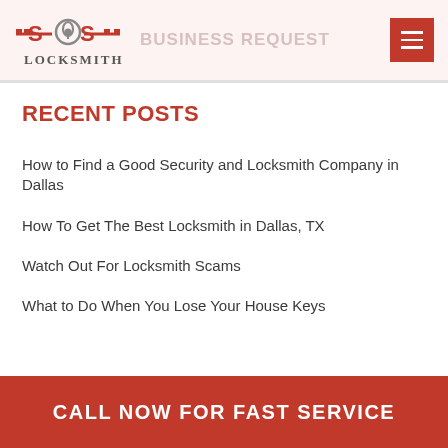SOS Locksmith
RECENT POSTS
How to Find a Good Security and Locksmith Company in Dallas
How To Get The Best Locksmith in Dallas, TX
Watch Out For Locksmith Scams
What to Do When You Lose Your House Keys
CALL NOW FOR FAST SERVICE